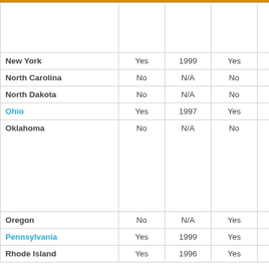| State | Yes/No | Year | Yes/No | Year | Comments |
| --- | --- | --- | --- | --- | --- |
|  |  |  |  |  | however, participation is limited. |
| New York | Yes | 1999 | Yes | 1997 | No Comments |
| North Carolina | No | N/A | No | N/A | No Comments |
| North Dakota | No | N/A | No | N/A | No Comments |
| Ohio | Yes | 1997 | Yes | 1996 | No Comments |
| Oklahoma | No | N/A | No | N/A | In 2001 Senate 440 was signed further investigation and study of the impacts of energy deregulation. |
| Oregon | No | N/A | Yes | 1997 | No Comments |
| Pennsylvania | Yes | 1999 | Yes | 1996 | No Comments |
| Rhode Island | Yes | 1996 | Yes | 1996 | No Comments |